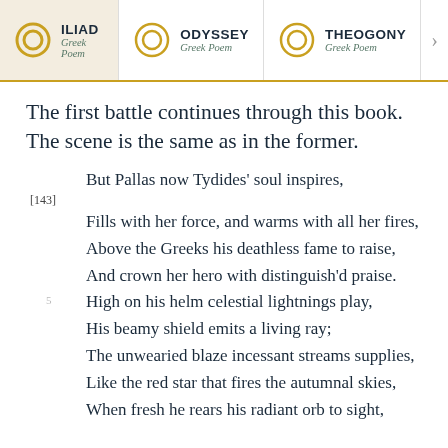ILIAD Greek Poem | ODYSSEY Greek Poem | THEOGONY Greek Poem
The first battle continues through this book. The scene is the same as in the former.
But Pallas now Tydides' soul inspires,
[143]
Fills with her force, and warms with all her fires,
Above the Greeks his deathless fame to raise,
And crown her hero with distinguish'd praise.
5   High on his helm celestial lightnings play,
His beamy shield emits a living ray;
The unwearied blaze incessant streams supplies,
Like the red star that fires the autumnal skies,
When fresh he rears his radiant orb to sight,